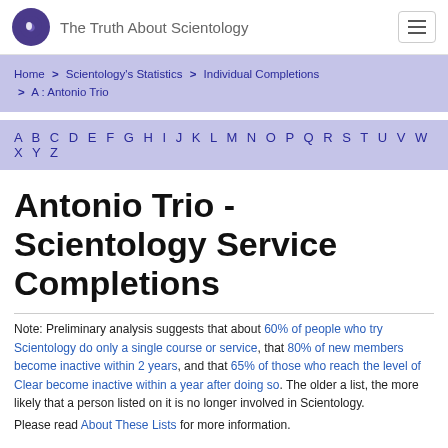The Truth About Scientology
Home > Scientology's Statistics > Individual Completions > A : Antonio Trio
A B C D E F G H I J K L M N O P Q R S T U V W X Y Z
Antonio Trio - Scientology Service Completions
Note: Preliminary analysis suggests that about 60% of people who try Scientology do only a single course or service, that 80% of new members become inactive within 2 years, and that 65% of those who reach the level of Clear become inactive within a year after doing so. The older a list, the more likely that a person listed on it is no longer involved in Scientology.
Please read About These Lists for more information.